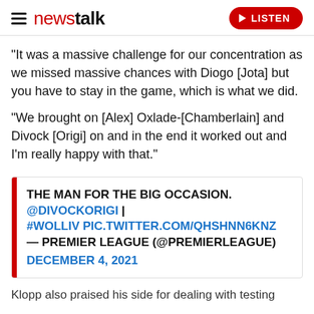newstalk | LISTEN
“It was a massive challenge for our concentration as we missed massive chances with Diogo [Jota] but you have to stay in the game, which is what we did.
"We brought on [Alex] Oxlade-[Chamberlain] and Divock [Origi] on and in the end it worked out and I’m really happy with that."
THE MAN FOR THE BIG OCCASION. @DIVOCKORIGI | #WOLLIV PIC.TWITTER.COM/QHSHNN6KNZ — PREMIER LEAGUE (@PREMIERLEAGUE) DECEMBER 4, 2021
Klopp also praised his side for dealing with testing